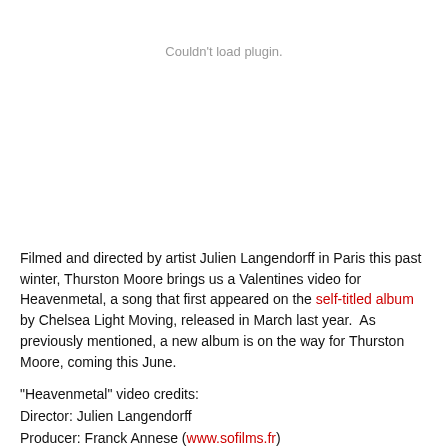Couldn't load plugin.
Filmed and directed by artist Julien Langendorff in Paris this past winter, Thurston Moore brings us a Valentines video for Heavenmetal, a song that first appeared on the self-titled album by Chelsea Light Moving, released in March last year. As previously mentioned, a new album is on the way for Thurston Moore, coming this June.
"Heavenmetal" video credits:
Director: Julien Langendorff
Producer: Franck Annese (www.sofilms.fr)
Director of Photography: Kameron S...